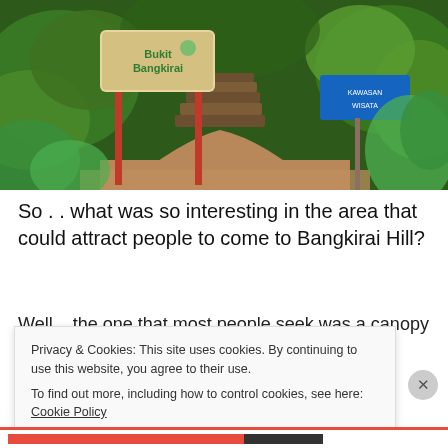[Figure (photo): Entrance path to Bukit Bangkirai with a wooden sign reading 'Bukit Bangkirai' on red poles, jungle stairs and lush green tropical vegetation in the background, and a blue sign visible on the right side.]
So . . what was so interesting in the area that could attract people to come to Bangkirai Hill?
Well... the one that most people seek was a canopy
Privacy & Cookies: This site uses cookies. By continuing to use this website, you agree to their use.
To find out more, including how to control cookies, see here: Cookie Policy